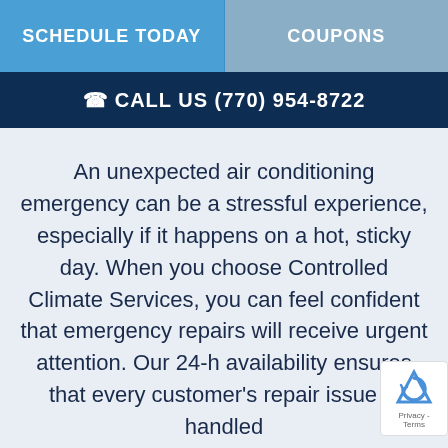SCHEDULE TODAY | COUPONS
CALL US (770) 954-8722
An unexpected air conditioning emergency can be a stressful experience, especially if it happens on a hot, sticky day. When you choose Controlled Climate Services, you can feel confident that emergency repairs will receive urgent attention. Our 24-h availability ensures that every customer's repair issue is handled